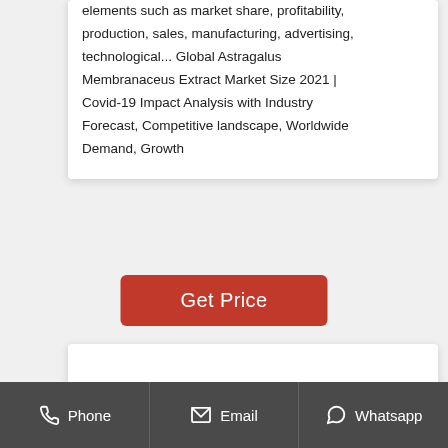elements such as market share, profitability, production, sales, manufacturing, advertising, technological... Global Astragalus Membranaceus Extract Market Size 2021 | Covid-19 Impact Analysis with Industry Forecast, Competitive landscape, Worldwide Demand, Growth
Get Price
Phone  Email  Whatsapp